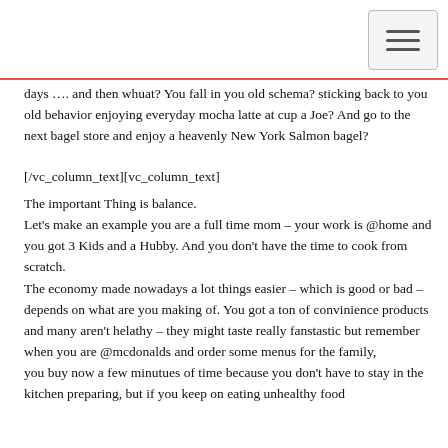[Figure (other): Navigation menu icon (hamburger button) in top right corner]
days …. and then whuat? You fall in you old schema? sticking back to you old behavior enjoying everyday mocha latte at cup a Joe? And go to the next bagel store and enjoy a heavenly New York Salmon bagel?
[/vc_column_text][vc_column_text]
The important Thing is balance.
Let's make an example you are a full time mom – your work is @home and you got 3 Kids and a Hubby. And you don't have the time to cook from scratch.
The economy made nowadays a lot things easier – which is good or bad – depends on what are you making of. You got a ton of convinience products and many aren't helathy – they might taste really fanstastic but remember when you are @mcdonalds and order some menus for the family,
you buy now a few minutues of time because you don't have to stay in the kitchen preparing, but if you keep on eating unhealthy food